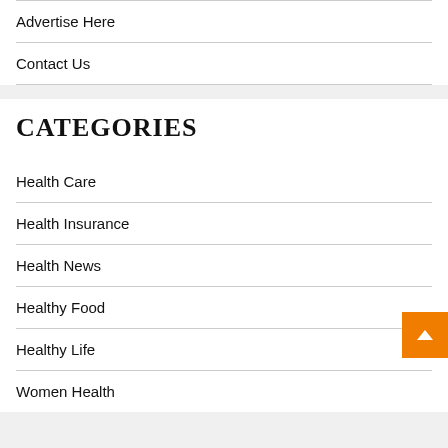Advertise Here
Contact Us
CATEGORIES
Health Care
Health Insurance
Health News
Healthy Food
Healthy Life
Women Health